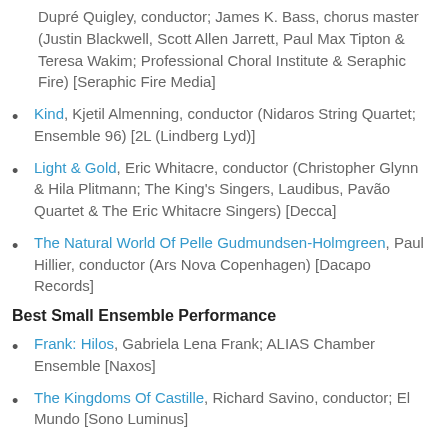Dupré Quigley, conductor; James K. Bass, chorus master (Justin Blackwell, Scott Allen Jarrett, Paul Max Tipton & Teresa Wakim; Professional Choral Institute & Seraphic Fire) [Seraphic Fire Media]
Kind, Kjetil Almenning, conductor (Nidaros String Quartet; Ensemble 96) [2L (Lindberg Lyd)]
Light & Gold, Eric Whitacre, conductor (Christopher Glynn & Hila Plitmann; The King's Singers, Laudibus, Pavão Quartet & The Eric Whitacre Singers) [Decca]
The Natural World Of Pelle Gudmundsen-Holmgreen, Paul Hillier, conductor (Ars Nova Copenhagen) [Dacapo Records]
Best Small Ensemble Performance
Frank: Hilos, Gabriela Lena Frank; ALIAS Chamber Ensemble [Naxos]
The Kingdoms Of Castille, Richard Savino, conductor; El Mundo [Sono Luminus]